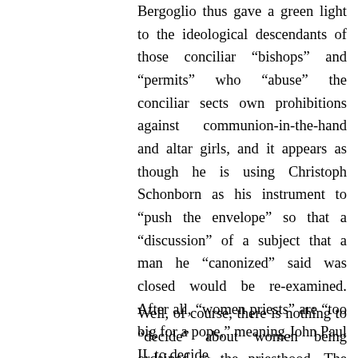Bergoglio thus gave a green light to the ideological descendants of those conciliar “bishops” and “permits” who “abuse” the conciliar sects own prohibitions against communion-in-the-hand and altar girls, and it appears as though he is using Christoph Schonborn as his instrument to “push the envelope” so that a “discussion” of a subject that a man he “canonized” said was closed would be re-examined. After all, “women priests” are “too big for a pope,” meaning John Paul II, to decide.
Well, of course, there is nothing to “decide” about women being ordained to the priesthood. The matter is as closed to “discussion” and “debate” as is the binding nature of Apostolicae Curae and contraception, which the Anglican sect